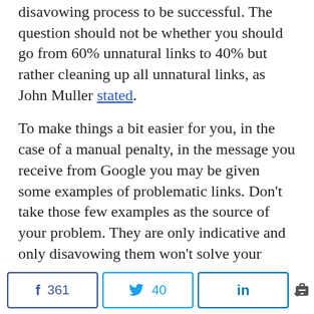disavowing process to be successful. The question should not be whether you should go from 60% unnatural links to 40% but rather cleaning up all unnatural links, as John Muller stated.
To make things a bit easier for you, in the case of a manual penalty, in the message you receive from Google you may be given some examples of problematic links. Don't take those few examples as the source of your problem. They are only indicative and only disavowing them won't solve your problem. These are just examples meant to give you a "flavor" of the types of links considered
f 361   [twitter] 40   in   < 401 SHARES